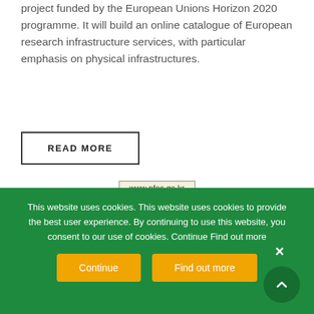project funded by the European Unions Horizon 2020 programme. It will build an online catalogue of European research infrastructure services, with particular emphasis on physical infrastructures.
READ MORE
[Figure (screenshot): A website URL label showing www.nfec.go.kr above a dark control room display panel with multiple screens showing data dashboards]
This website uses cookies. This website uses cookies to provide the best user experience. By continuing to use this website, you consent to our use of cookies. Continue Find out more